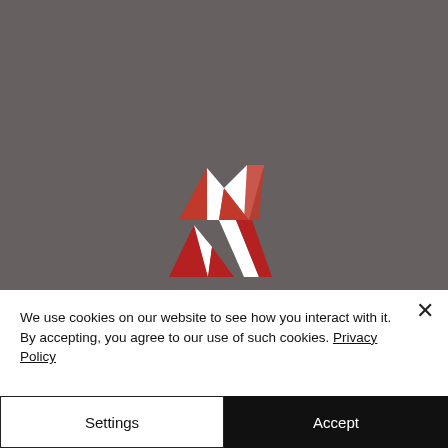[Figure (logo): Red Storm Films logo: three red/white triangular shapes above the text RED STORM FILMS in white bold letters on a dark grey background]
We use cookies on our website to see how you interact with it. By accepting, you agree to our use of such cookies. Privacy Policy
Settings
Accept